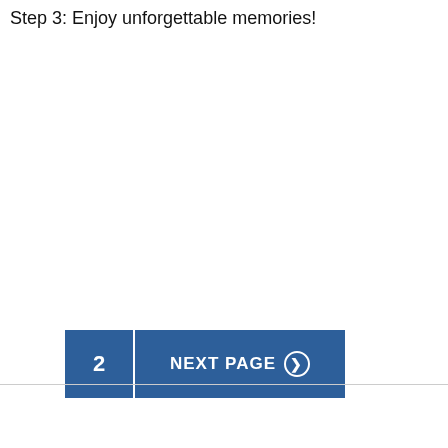Step 3: Enjoy unforgettable memories!
2  NEXT PAGE ❯